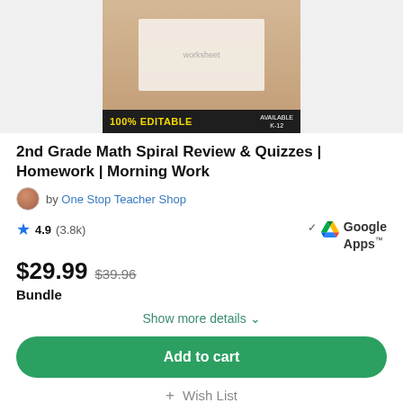[Figure (photo): Product image showing hands working on math worksheets with pencil, with a dark banner reading '100% EDITABLE' in yellow and 'AVAILABLE K-12' in white]
2nd Grade Math Spiral Review & Quizzes | Homework | Morning Work
by One Stop Teacher Shop
4.9 (3.8k)
✓ Google Apps™
$29.99  $39.96
Bundle
Show more details ∨
Add to cart
+ Wish List